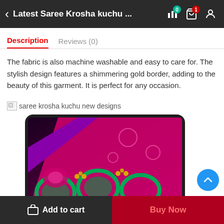Latest Saree Krosha kuchu ...
Description   Reviews (0)
The fabric is also machine washable and easy to care for. The stylish design features a shimmering gold border, adding to the beauty of this garment. It is perfect for any occasion.
[Figure (photo): Broken image placeholder labeled 'saree krosha kuchu new designs' followed by a tablet device displaying colorful saree krosha kuchu (crochet tassel) designs in magenta/pink and green on a dark background]
Add to cart   Buy Now